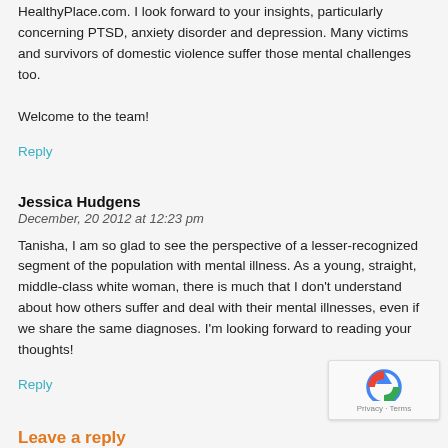HealthyPlace.com. I look forward to your insights, particularly concerning PTSD, anxiety disorder and depression. Many victims and survivors of domestic violence suffer those mental challenges too.

Welcome to the team!
Reply
Jessica Hudgens
December, 20 2012 at 12:23 pm
Tanisha, I am so glad to see the perspective of a lesser-recognized segment of the population with mental illness. As a young, straight, middle-class white woman, there is much that I don't understand about how others suffer and deal with their mental illnesses, even if we share the same diagnoses. I'm looking forward to reading your thoughts!
Reply
Leave a reply